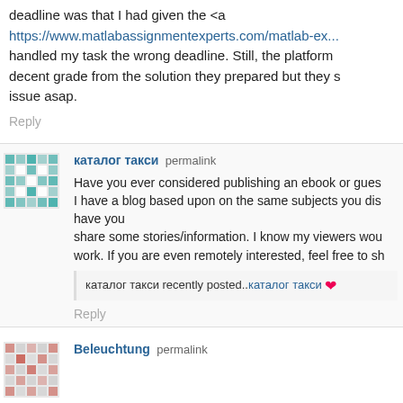deadline was that I had given the <a https://www.matlabassignmentexperts.com/matlab-ex... handled my task the wrong deadline. Still, the platform decent grade from the solution they prepared but they s issue asap.
Reply
каталог такси permalink
Have you ever considered publishing an ebook or gues I have a blog based upon on the same subjects you dis have you share some stories/information. I know my viewers wou work. If you are even remotely interested, feel free to sh
каталог такси recently posted..каталог такси
Reply
Beleuchtung permalink